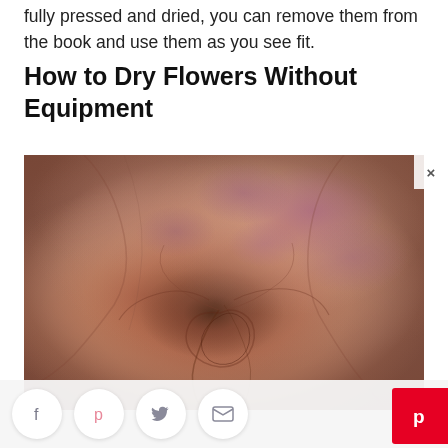fully pressed and dried, you can remove them from the book and use them as you see fit.
How to Dry Flowers Without Equipment
[Figure (photo): Close-up photograph of a dried rose, showing wrinkled pinkish-mauve petals with deep texture and purple-spotted markings, against a blurred grey-brown background.]
[Figure (infographic): Social sharing bar with Facebook, Pinterest, Twitter, and email icons, plus a Pinterest save button on the right side.]